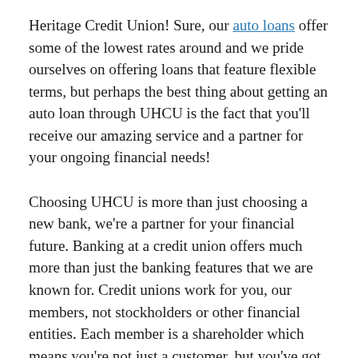Heritage Credit Union! Sure, our auto loans offer some of the lowest rates around and we pride ourselves on offering loans that feature flexible terms, but perhaps the best thing about getting an auto loan through UHCU is the fact that you'll receive our amazing service and a partner for your ongoing financial needs!
Choosing UHCU is more than just choosing a new bank, we're a partner for your financial future. Banking at a credit union offers much more than just the banking features that we are known for. Credit unions work for you, our members, not stockholders or other financial entities. Each member is a shareholder which means you're not just a customer, but you've got ownership in the credit union.